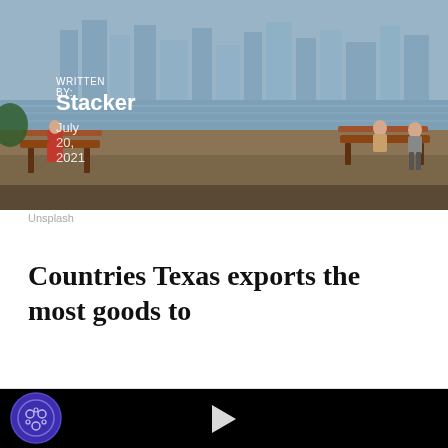[Figure (photo): Hero photograph showing a waterfront scene with city skyline in the background, a bench, and people sitting outdoors. Urban waterfront park.]
WRITTEN BY:
Stacker
July 20, 2021
Unsplash
Countries Texas exports the most goods to
[Figure (screenshot): Black video player area with a white play button triangle in the center]